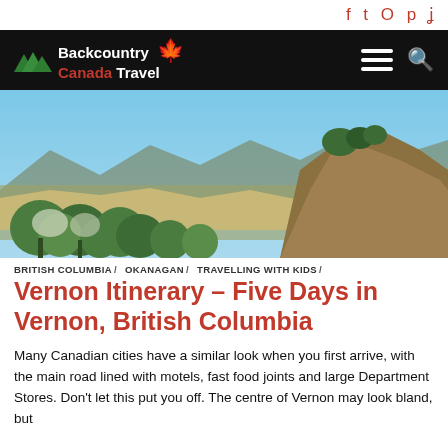f  🐦  ○  p  )))
[Figure (logo): Backcountry Canada Travel logo — white text with red maple leaf on black background, hamburger menu and search icon on right]
[Figure (photo): Landscape photo of Vernon, British Columbia — rolling hills, blue sky, trees and valley visible from elevated viewpoint]
BRITISH COLUMBIA/  OKANAGAN/  TRAVELLING WITH KIDS/
Vernon Itinerary – Five Days in Vernon, British Columbia
Many Canadian cities have a similar look when you first arrive, with the main road lined with motels, fast food joints and large Department Stores. Don't let this put you off. The centre of Vernon may look bland, but